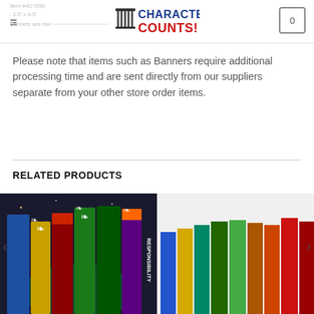Item #4C7650 | Character Counts! | Size: 2.5' x 6.5' | Banners are ma...
Please note that items such as Banners require additional processing time and are sent directly from our suppliers separate from your other store order items.
RELATED PRODUCTS
[Figure (photo): Colorful character education banners showing TRUSTWORTHINESS, RESPECT, RESPONSIBILITY, and other virtues displayed as vertical banners with decorative backgrounds]
[Figure (photo): Bilingual character education banners showing TRUSTWORTHINESS, RESPECT, RESPONSIBILITY, JUSTICIA, FAIRNESS, BONDAD and other virtues as vertical banners in bright colors]